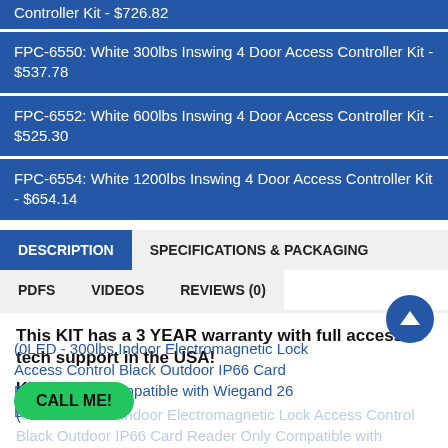Controller Kit - $726.82
FPC-6550: White 300lbs Inswing 4 Door Access Controller Kit - $537.78
FPC-6552: White 600lbs Inswing 4 Door Access Controller Kit - $525.30
FPC-6554: White 1200lbs Inswing 4 Door Access Controller Kit - $654.14
DESCRIPTION
SPECIFICATIONS & PACKAGING
PDFS
VIDEOS
REVIEWS (0)
This KIT has a 3 YEAR warranty with full access to tech support in the USA!
Kit Includes
0LED - 300lbs Indoor Electromagnetic Lock Access Control Black Outdoor IP66 Card Reader Only Compatible with Wiegand 26 Bit